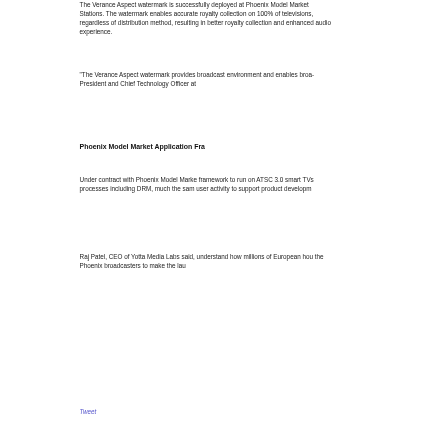The Verance Aspect watermark is successfully deployed at Phoenix Model Market Stations. The watermark enables accurate royalty collection on 100% of televisions, regardless of distribution method, resulting in better royalty collection and enhanced audio experience.
“The Verance Aspect watermark provides robust performance in the broadcast environment and enables broadcasters to…” said President and Chief Technology Officer at…
Phoenix Model Market Application Fra…
Under contract with Phoenix Model Market… framework to run on ATSC 3.0 smart TVs… processes including DRM, much the same… user activity to support product development…
Raj Patel, CEO of Yotta Media Labs said,… understand how millions of European households… the Phoenix broadcasters to make the launch…
Tweet